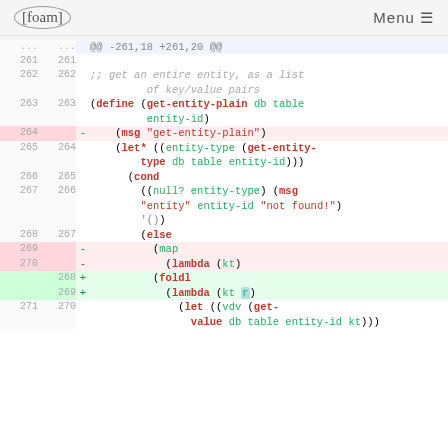[foam] Menu
[Figure (screenshot): Code diff view showing Scheme/Lisp code changes. Lines 261-271 shown. Deleted lines (264, 269, 270) show removal of (msg ...) and (map ...) / (lambda (kt)) calls. Added lines (268, 269) show (foldl ...) and (lambda (kt r)) replacements.]